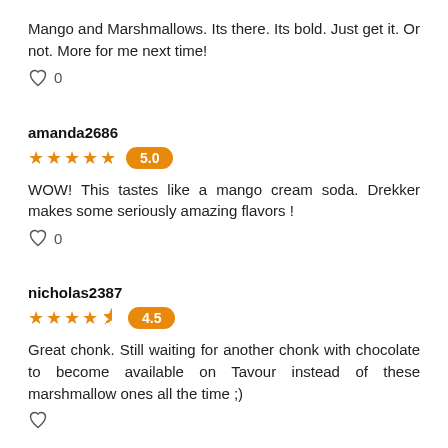Mango and Marshmallows. Its there. Its bold. Just get it. Or not. More for me next time!
♡ 0
amanda2686
★★★★★ 5.0
WOW! This tastes like a mango cream soda. Drekker makes some seriously amazing flavors !
♡ 0
nicholas2387
★★★★½ 4.5
Great chonk. Still waiting for another chonk with chocolate to become available on Tavour instead of these marshmallow ones all the time ;)